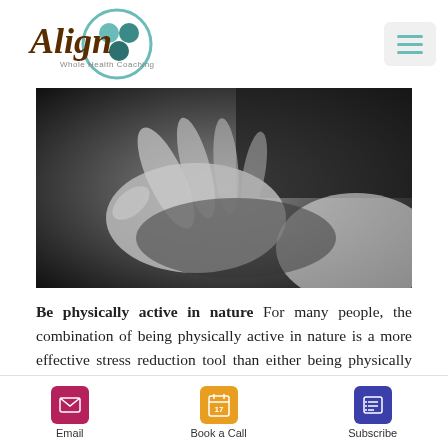Align Whole Health Coaching
[Figure (photo): Black and white close-up photo of hands, appears to show someone gesturing or reaching out]
Be physically active in nature For many people, the combination of being physically active in nature is a more effective stress reduction tool than either being physically active indoors or being in nature without being physically active.  "The results
Email | Book a Call | Subscribe